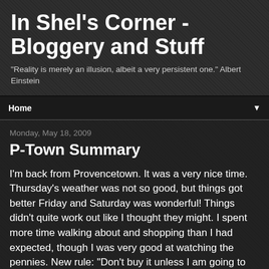In Shel's Corner - Bloggery and Stuff
"Reality is merely an illusion, albeit a very persistent one." Albert Einstein
Home
Monday, May 18, 2009
P-Town Summary
I'm back from Provencetown. It was a very nice time. Thursday's weather was not so good, but things got better Friday and Saturday was wonderful! Things didn't quite work out like I thought they might. I spent more time walking about and shopping than I had expected, though I was very good at watching the pennies. New rule: "Don't buy it unless I am going to wear it!" This saved me a great deal. It was fun